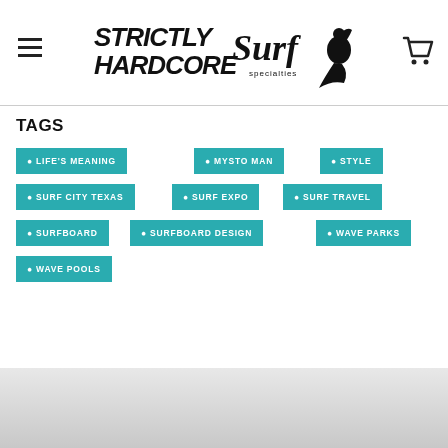Strictly Hardcore Surf Specialties
TAGS
LIFE'S MEANING
MYSTO MAN
STYLE
SURF CITY TEXAS
SURF EXPO
SURF TRAVEL
SURFBOARD
SURFBOARD DESIGN
WAVE PARKS
WAVE POOLS
[Figure (photo): Bottom portion of a webpage, light gray background area]